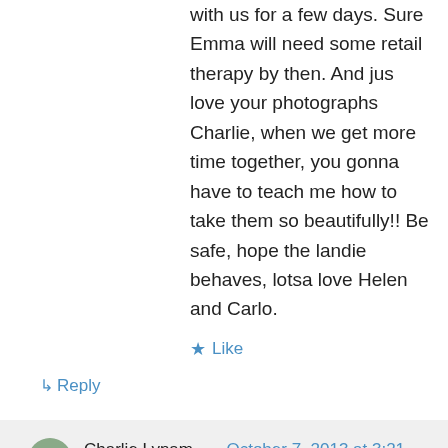with us for a few days. Sure Emma will need some retail therapy by then. And jus love your photographs Charlie, when we get more time together, you gonna have to teach me how to take them so beautifully!! Be safe, hope the landie behaves, lotsa love Helen and Carlo.
★ Like
↳ Reply
Charlie Lynam on October 7, 2013 at 3:21 am
Thanks Helen. Your Gaff is on the itinerary and probably the best water hole we will visit on the whole trip! We'll be with you around mid to end November.